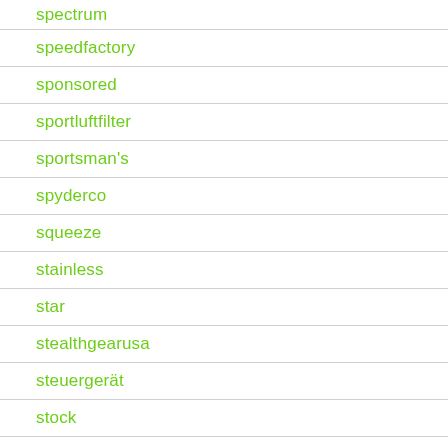spectrum
speedfactory
sponsored
sportluftfilter
sportsman's
spyderco
squeeze
stainless
star
stealthgearusa
steuergerät
stock
storage